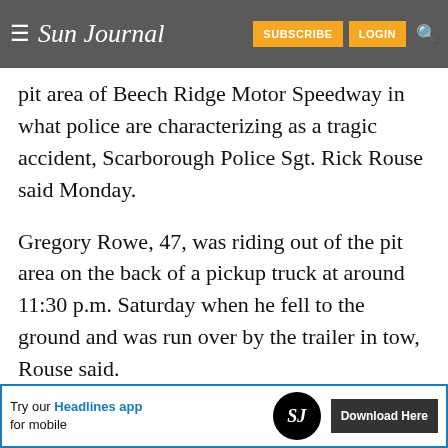Sun Journal | SUBSCRIBE | LOGIN
pit area of Beech Ridge Motor Speedway in what police are characterizing as a tragic accident, Scarborough Police Sgt. Rick Rouse said Monday.
Gregory Rowe, 47, was riding out of the pit area on the back of a pickup truck at around 11:30 p.m. Saturday when he fell to the ground and was run over by the trailer in tow, Rouse said.
The incident occurred nearly two hours after the
[Figure (infographic): Advertisement banner: 'Try our Headlines app for mobile' with Sun Journal logo badge and 'Download Here' button]